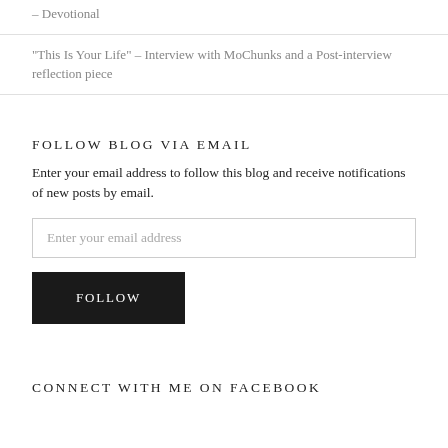Psychology of Gaslighting: How to Respond in Faith – Devotional
“This Is Your Life” – Interview with MoChunks and a Post-interview reflection piece
FOLLOW BLOG VIA EMAIL
Enter your email address to follow this blog and receive notifications of new posts by email.
Enter your email address
FOLLOW
CONNECT WITH ME ON FACEBOOK